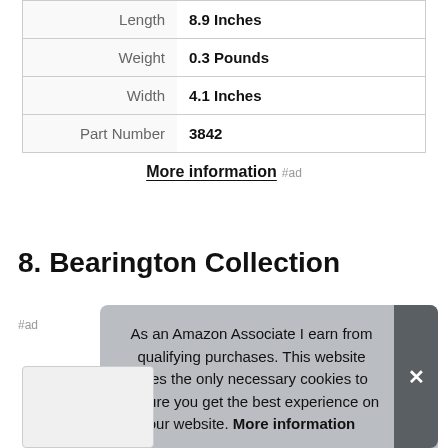| Attribute | Value |
| --- | --- |
| Length | 8.9 Inches |
| Weight | 0.3 Pounds |
| Width | 4.1 Inches |
| Part Number | 3842 |
More information #ad
8. Bearington Collection
As an Amazon Associate I earn from qualifying purchases. This website uses the only necessary cookies to ensure you get the best experience on our website. More information